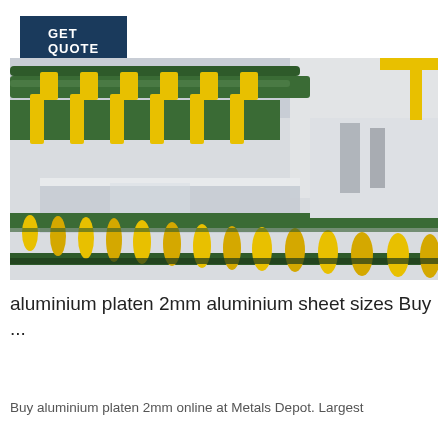[Figure (other): Button with dark navy background and white text reading GET QUOTE]
[Figure (photo): Industrial aluminium sheet manufacturing facility showing large metal sheets on a roller conveyor system with green and yellow machinery overhead in a large warehouse]
aluminium platen 2mm aluminium sheet sizes Buy ...
Buy aluminium platen 2mm online at Metals Depot. Largest